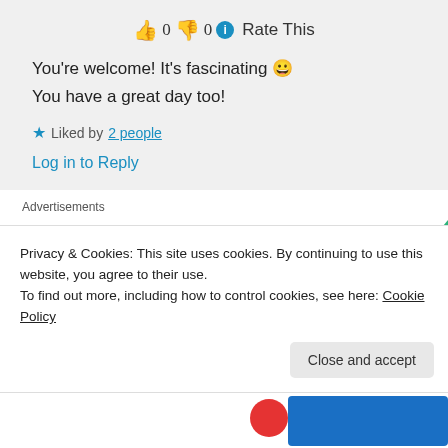👍 0 👎 0 ℹ Rate This
You're welcome! It's fascinating 😀 You have a great day too!
★ Liked by 2 people
Log in to Reply
Advertisements
The go-to app for podcast
Privacy & Cookies: This site uses cookies. By continuing to use this website, you agree to their use.
To find out more, including how to control cookies, see here: Cookie Policy
Close and accept